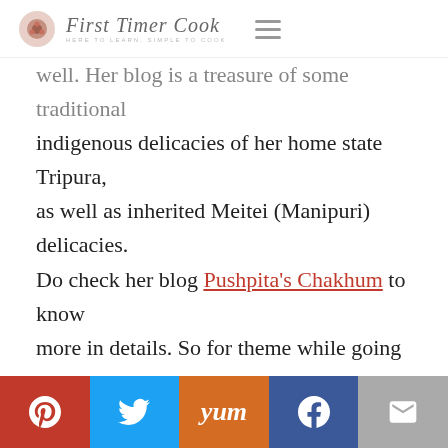First Timer Cook
well. Her blog is a treasure of some traditional indigenous delicacies of her home state Tripura, as well as inherited Meitei (Manipuri) delicacies. Do check her blog Pushpita's Chakhum to know more in details. So for theme while going through her blog posts, I just came across a healthy and no-oil stew as 'No Oil Hawaithrak Makuchabi Kangshoi or Tender Green Peas Stew' which is so perfectly matched this ongoing cold weather. So for 121st Foodie Monday Blog Hop, I have just recreated her no-oil tender
[Figure (infographic): Social sharing bar with Pinterest, Twitter, Yummly, Facebook, and Email buttons]